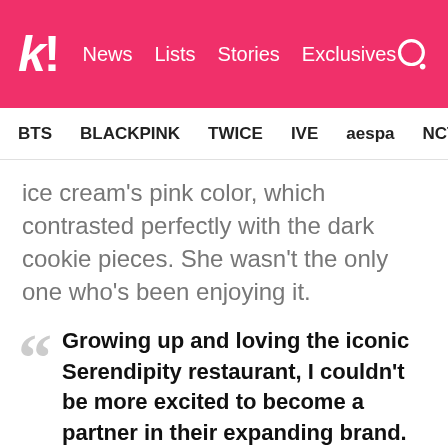k! News Lists Stories Exclusives
BTS BLACKPINK TWICE IVE aespa NCT SEVE
ice cream's pink color, which contrasted perfectly with the dark cookie pieces. She wasn't the only one who's been enjoying it.
Growing up and loving the iconic Serendipity restaurant, I couldn't be more excited to become a partner in their expanding brand.

For the Cookies & Cream Remix, I wanted to put my own personal spin on this classic flavor by making it with pink vanilla ice cream as a nod to my